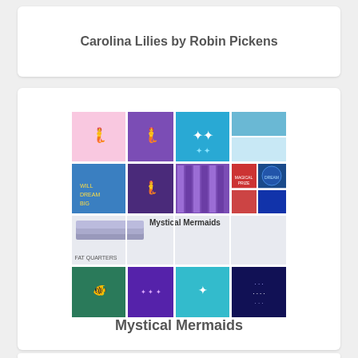Carolina Lilies by Robin Pickens
[Figure (illustration): Collage of fabric swatches for Mystical Mermaids fat quarters collection showing mermaid, aquatic, and ocean-themed fabric patterns in blue, purple, teal and multicolor]
Mystical Mermaids